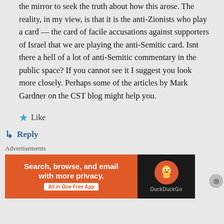the mirror to seek the truth about how this arose. The reality, in my view, is that it is the anti-Zionists who play a card — the card of facile accusations against supporters of Israel that we are playing the anti-Semitic card. Isnt there a hell of a lot of anti-Semitic commentary in the public space? If you cannot see it I suggest you look more closely. Perhaps some of the articles by Mark Gardner on the CST blog might help you.
Like
Reply
Advertisements
[Figure (other): DuckDuckGo advertisement banner: orange background on left with text 'Search, browse, and email with more privacy. All in One Free App' and white pill button, dark right panel with DuckDuckGo duck logo and brand name]